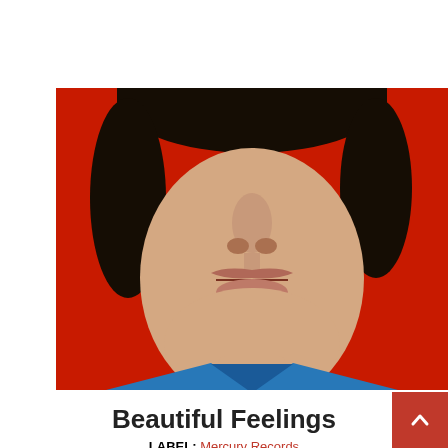Navigation bar with hamburger menu and social icons (Facebook, Instagram, Email)
[Figure (photo): Close-up photo of a young man's face cropped from the nose down, wearing a blue collared shirt against a bright red background — album cover for Beautiful Feelings]
Beautiful Feelings
LABEL: Mercury Records
2020-02-28
MP3 Album: $7.99  DOWNLOAD
[Figure (photo): Bottom partial image showing colorful graffiti-style text and a cartoon female figure, partially visible at the bottom of the page]